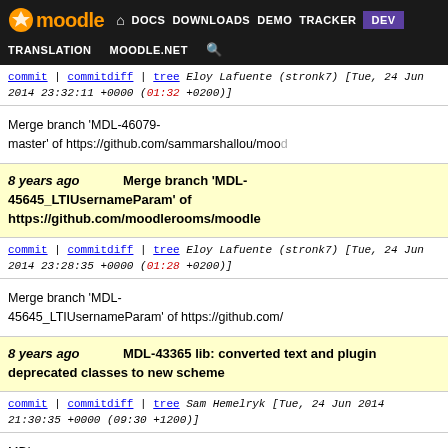moodle DOCS DOWNLOADS DEMO TRACKER DEV TRANSLATION MOODLE.NET
commit | commitdiff | tree   Eloy Lafuente (stronk7) [Tue, 24 Jun 2014 23:32:11 +0000 (01:32 +0200)]
Merge branch 'MDL-46079-master' of https://github.com/sammarshallou/moo
8 years ago   Merge branch 'MDL-45645_LTIUsernameParam' of https://github.com/moodlerooms/moodle
commit | commitdiff | tree   Eloy Lafuente (stronk7) [Tue, 24 Jun 2014 23:28:35 +0000 (01:28 +0200)]
Merge branch 'MDL-45645_LTIUsernameParam' of https://github.com/
8 years ago   MDL-43365 lib: converted text and plugin deprecated classes to new scheme
commit | commitdiff | tree   Sam Hemelryk [Tue, 24 Jun 2014 21:30:35 +0000 (09:30 +1200)]
MDL-